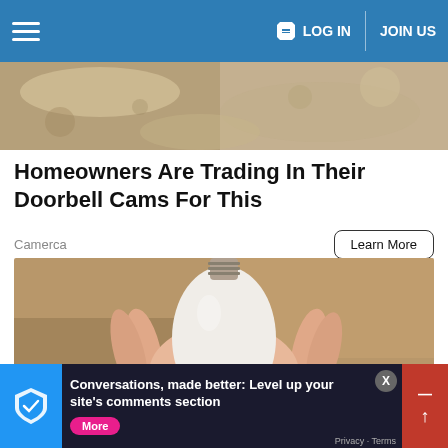LOG IN | JOIN US
[Figure (photo): Top partial image showing bread or food items on a surface]
Homeowners Are Trading In Their Doorbell Cams For This
Camerca
Learn More
[Figure (photo): A hand holding a white smart light bulb camera device with a screw base, resembling a regular bulb but with a camera lens at the bottom]
Conversations, made better: Level up your site's comments section